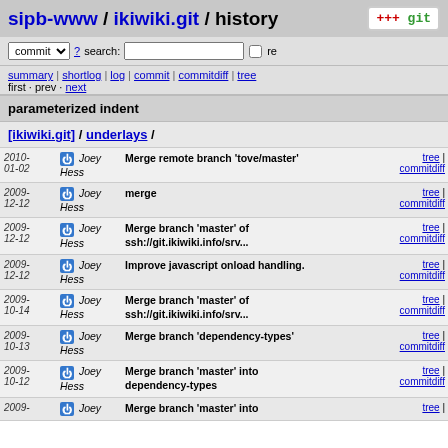sipb-www / ikiwiki.git / history
commit ? search: re
summary | shortlog | log | commit | commitdiff | tree
first · prev · next
parameterized indent
[ikiwiki.git] / underlays /
| Date | Author | Commit Message | Links |
| --- | --- | --- | --- |
| 2010-01-02 | Joey Hess | Merge remote branch 'tove/master' | tree | commitdiff |
| 2009-12-12 | Joey Hess | merge | tree | commitdiff |
| 2009-12-12 | Joey Hess | Merge branch 'master' of ssh://git.ikiwiki.info/srv... | tree | commitdiff |
| 2009-12-12 | Joey Hess | Improve javascript onload handling. | tree | commitdiff |
| 2009-10-14 | Joey Hess | Merge branch 'master' of ssh://git.ikiwiki.info/srv... | tree | commitdiff |
| 2009-10-13 | Joey Hess | Merge branch 'dependency-types' | tree | commitdiff |
| 2009-10-12 | Joey Hess | Merge branch 'master' into dependency-types | tree | commitdiff |
| 2009- | Joey | Merge branch 'master' into | tree |